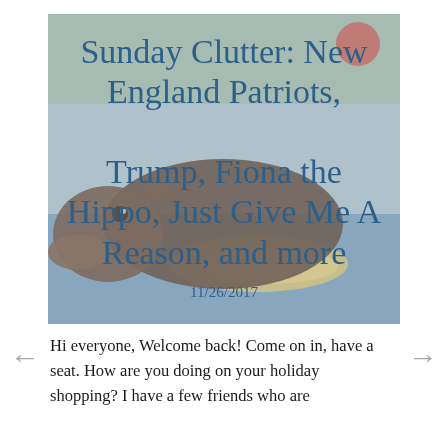[Figure (photo): A baby hippo (Fiona) photographed on a blue mat with hay, overlaid with blog post title text]
Sunday Clutter: New England Patriots, Trump, Fiona the Hippo, Just Give Me A Reason, and more
11/26/2017
Hi everyone, Welcome back! Come on in, have a seat. How are you doing on your holiday shopping? I have a few friends who are